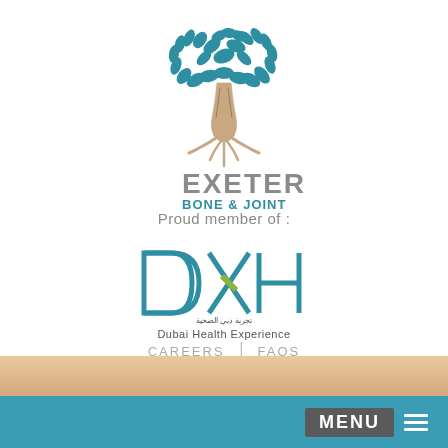[Figure (logo): Exeter Bone & Joint logo with a stylized teal tree above the text 'EXETER' in grey and 'BONE & JOINT' in teal]
Proud member of :
[Figure (logo): DXH Dubai Health Experience logo with large stylized letters D, X, H in teal/olive/grey, Arabic text and English text 'Dubai Health Experience' below]
CAREERS  |  FAQS
800 EXETER 39 38 37
MENU